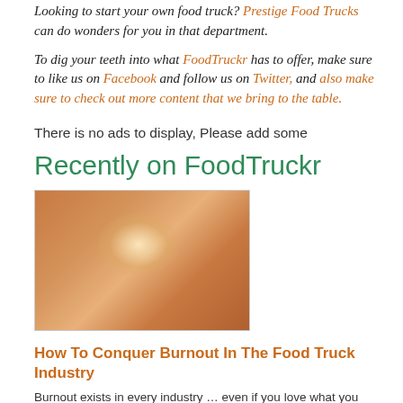Looking to start your own food truck? Prestige Food Trucks can do wonders for you in that department.
To dig your teeth into what FoodTruckr has to offer, make sure to like us on Facebook and follow us on Twitter, and also make sure to check out more content that we bring to the table.
There is no ads to display, Please add some
Recently on FoodTruckr
[Figure (photo): Thumbnail image with warm orange/brown tones and a bright glow in the center]
How To Conquer Burnout In The Food Truck Industry
Burnout exists in every industry ... even if you love what you do. Therefore, you better believe burnout exists in the food truck industry, an industry in which owners tend to work double digit hou...